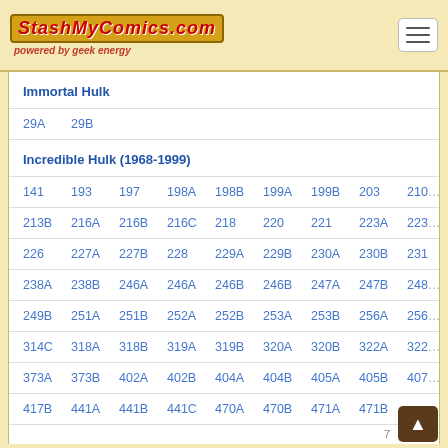StashMyComics.com - powered by geek energy
Immortal Hulk
29A  29B
Incredible Hulk (1968-1999)
141  193  197  198A  198B  199A  199B  203  210...
213B  216A  216B  216C  218  220  221  223A  223...
226  227A  227B  228  229A  229B  230A  230B  231
238A  238B  246A  246A  246B  246B  247A  247B  248...
249B  251A  251B  252A  252B  253A  253B  256A  256...
314C  318A  318B  319A  319B  320A  320B  322A  322...
373A  373B  402A  402B  404A  404B  405A  405B  407...
417B  441A  441B  441C  470A  470B  471A  471B ...